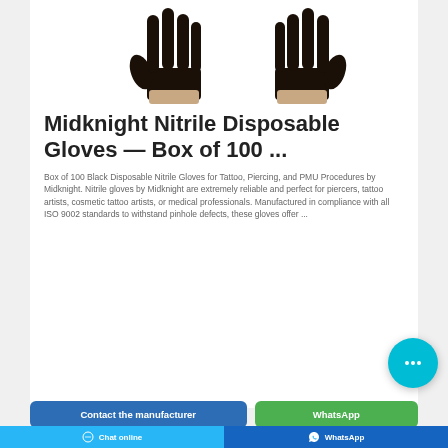[Figure (photo): Two black nitrile disposable gloves photographed against a white background, facing upward with fingers spread.]
Midknight Nitrile Disposable Gloves — Box of 100 ...
Box of 100 Black Disposable Nitrile Gloves for Tattoo, Piercing, and PMU Procedures by Midknight. Nitrile gloves by Midknight are extremely reliable and perfect for piercers, tattoo artists, cosmetic tattoo artists, or medical professionals. Manufactured in compliance with all ISO 9002 standards to withstand pinhole defects, these gloves offer ...
[Figure (other): Cyan circular chat bubble button with ellipsis icon]
Contact the manufacturer
WhatsApp
Chat online   WhatsApp